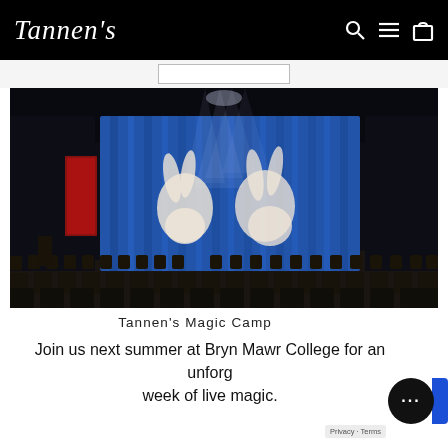Tannen's
[Figure (photo): A dark auditorium/theater with rows of chairs facing a stage. On the stage backdrop is a blue-lit curtain with two large white rabbit silhouettes illuminated by spotlights from above.]
Tannen's Magic Camp
Join us next summer at Bryn Mawr College for an unforgettable week of live magic.